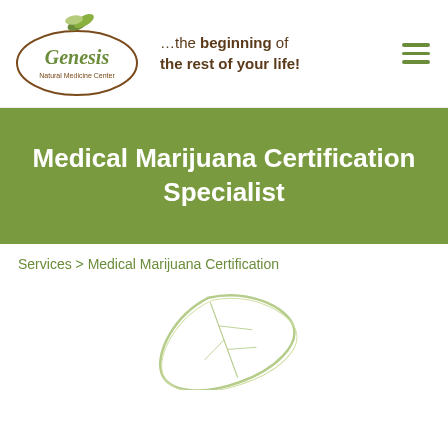[Figure (logo): Genesis Natural Medicine Center logo — oval with leaf above and cursive Genesis text, tagline reads ...the beginning of the rest of your life!]
Medical Marijuana Certification Specialist
Services > Medical Marijuana Certification
[Figure (illustration): Light green leaf outline illustration centered on white background]